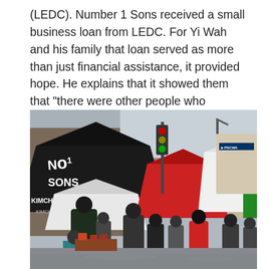(LEDC). Number 1 Sons received a small business loan from LEDC. For Yi Wah and his family that loan served as more than just financial assistance, it provided hope. He explains that it showed them that "there were other people who believed in us besides our customers."
[Figure (photo): Outdoor street market scene with a black canopy tent labeled 'No1 Sons' and text 'KIMCHI · PICKLES · KRAUT' visible. Various vendor tents including red and white ones fill a crowded urban street marketplace with many people browsing. City buildings and a Regions bank sign visible in the background.]